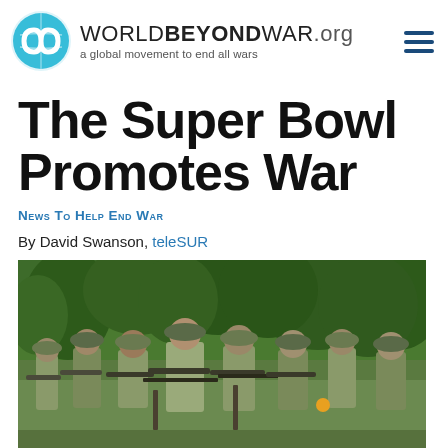WORLDBEYONDWAR.org — a global movement to end all wars
The Super Bowl Promotes War
News To Help End War
By David Swanson, teleSUR
[Figure (photo): Group of soldiers in camouflage uniforms and hats moving through a jungle/forest area carrying rifles, in a military training or combat scenario.]